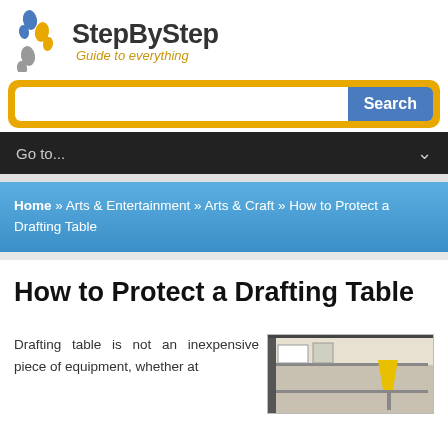StepByStep – Guide to everything
Search
Go to...
Home » Arts & Entertainment » Arts & Craft » How to Protect a Drafting Table
How to Protect a Drafting Table
Drafting table is not an inexpensive piece of equipment, whether at
[Figure (photo): Photo of a drafting table workspace with a yellow lamp and drawing tools]